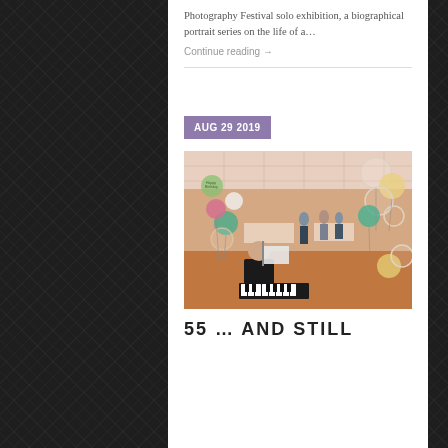Photography Festival solo exhibition, a biographical portrait series on the life of a…
Continue reading →
AUG 29 2019
[Figure (photo): Indoor party/event scene with a pianist in black suit playing a keyboard in the foreground, surrounded by colorful balloons (transparent, gold, pink, green/teal). People are visible in the background in a large hall with tables.]
55 … AND STILL